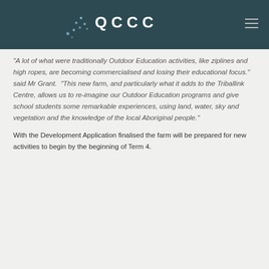QCCC
"A lot of what were traditionally Outdoor Education activities, like ziplines and high ropes, are becoming commercialised and losing their educational focus." said Mr Grant. "This new farm, and particularly what it adds to the Triballink Centre, allows us to re-imagine our Outdoor Education programs and give school students some remarkable experiences, using land, water, sky and vegetation and the knowledge of the local Aboriginal people."
With the Development Application finalised the farm will be prepared for new activities to begin by the beginning of Term 4.